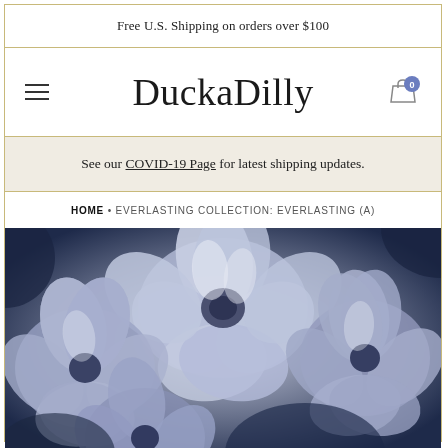Free U.S. Shipping on orders over $100
DuckaDilly
See our COVID-19 Page for latest shipping updates.
HOME • EVERLASTING COLLECTION: EVERLASTING (A)
[Figure (photo): Close-up photograph of large blue-toned flowers (peonies/dahlias) in a duotone blue-grey color scheme, filling the entire image area.]